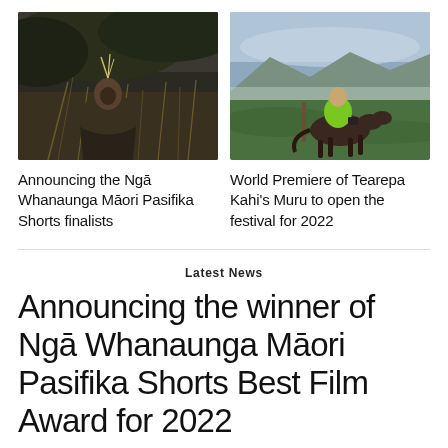[Figure (photo): Elderly Māori man with feathers in hair, sitting in natural outdoor setting among dried grasses, dark moody lighting]
[Figure (photo): Person in bright yellow-green hi-vis jacket riding a dark horse in a misty green field with mountains in background]
Announcing the Ngā Whanaunga Māori Pasifika Shorts finalists
World Premiere of Tearepa Kahi's Muru to open the festival for 2022
Latest News
Announcing the winner of Ngā Whanaunga Māori Pasifika Shorts Best Film Award for 2022